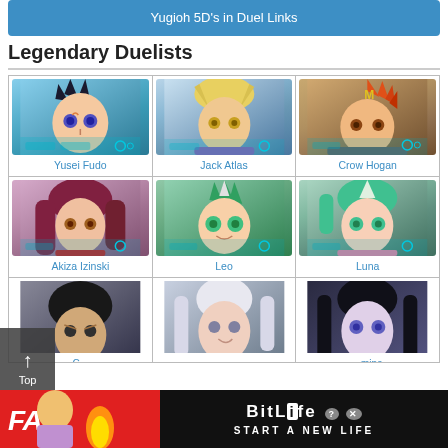Yugioh 5D's in Duel Links
Legendary Duelists
[Figure (illustration): 3x3 grid of Yu-Gi-Oh 5D's anime character portraits with names: Yusei Fudo, Jack Atlas, Crow Hogan, Akiza Izinski, Leo, Luna, and three partially visible characters in the bottom row (one labeled with partial text 'C...', center unnamed, right labeled 'mine')]
[Figure (photo): BitLife mobile game advertisement banner at the bottom: red background with blonde anime-style character, flame, 'FAIL' text in white, and BitLife logo with 'START A NEW LIFE' text on dark background]